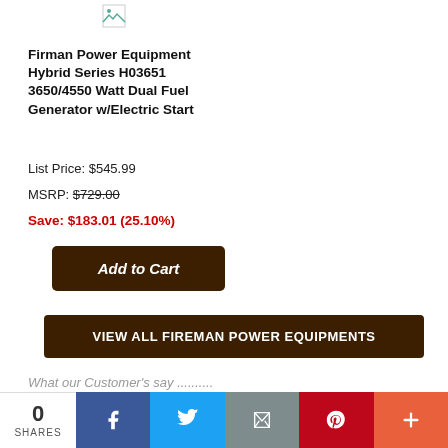[Figure (photo): Broken/placeholder image icon at top]
Firman Power Equipment Hybrid Series H03651 3650/4550 Watt Dual Fuel Generator w/Electric Start
List Price: $545.99
MSRP: $729.00
Save: $183.01 (25.10%)
Add to Cart
VIEW ALL FIREMAN POWER EQUIPMENTS
What our Customer's say ..........
0 SHARES